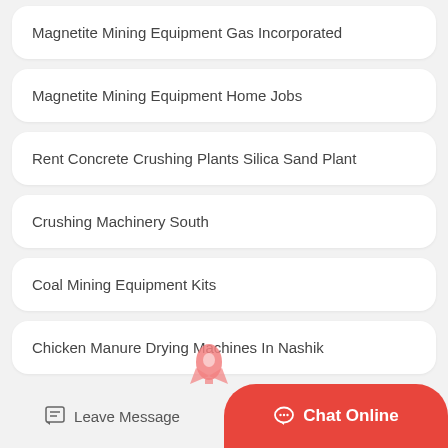Magnetite Mining Equipment Gas Incorporated
Magnetite Mining Equipment Home Jobs
Rent Concrete Crushing Plants Silica Sand Plant
Crushing Machinery South
Coal Mining Equipment Kits
Chicken Manure Drying Machines In Nashik
Garage Shop Dust Collection System In Sterling Heights
Leave Message   Chat Online